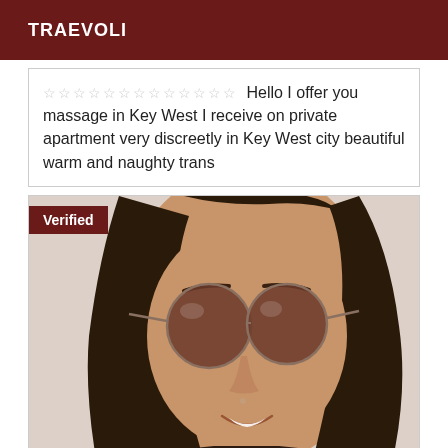TRAEVOLI
☆☆☆☆☆☆☆☆☆☆☆☆☆ Hello I offer you massage in Key West I receive on private apartment very discreetly in Key West city beautiful warm and naughty trans
[Figure (photo): Close-up photo of a person with long dark hair wearing large round sunglasses, smiling. A 'Verified' badge is overlaid in the top-left corner.]